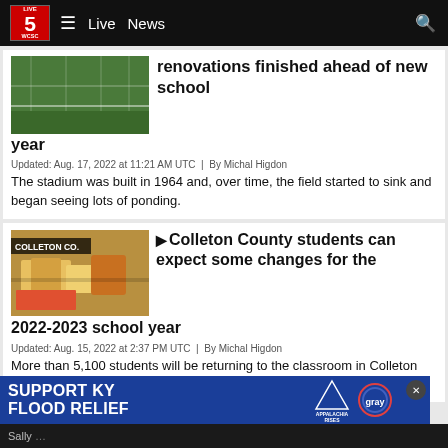WCSC Live 5 News — Live | News
renovations finished ahead of new school year
Updated: Aug. 17, 2022 at 11:21 AM UTC  |  By Michal Higdon
The stadium was built in 1964 and, over time, the field started to sink and began seeing lots of ponding.
Colleton County students can expect some changes for the 2022-2023 school year
Updated: Aug. 15, 2022 at 2:37 PM UTC  |  By Michal Higdon
More than 5,100 students will be returning to the classroom in Colleton County on Monday.
[Figure (screenshot): Ad banner: SUPPORT KY FLOOD RELIEF with Appalachia Rises and Gray Television logos]